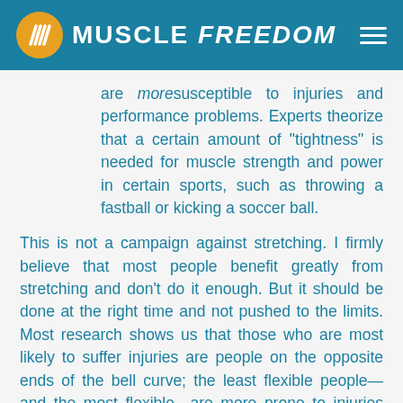MUSCLE FREEDOM
are more susceptible to injuries and performance problems. Experts theorize that a certain amount of "tightness" is needed for muscle strength and power in certain sports, such as throwing a fastball or kicking a soccer ball.
This is not a campaign against stretching. I firmly believe that most people benefit greatly from stretching and don't do it enough. But it should be done at the right time and not pushed to the limits. Most research shows us that those who are most likely to suffer injuries are people on the opposite ends of the bell curve; the least flexible people—and the most flexible—are more prone to injuries and problems. That's good news for your average exerciser because you don't need to t urn into a human Gumby to stay injury free. A normal range of flexibility, often called a